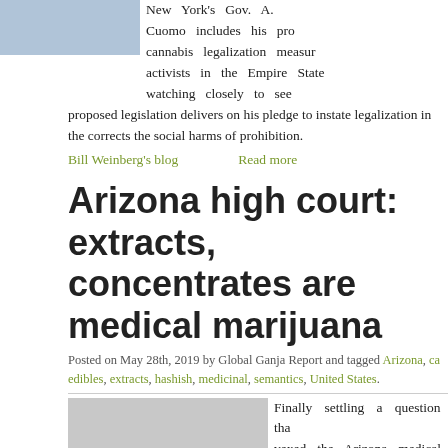[Figure (photo): Photo of person holding cannabis or related item, partially visible at top left]
New York's Gov. A. Cuomo includes his pro cannabis legalization measure activists in the Empire State watching closely to see proposed legislation delivers on his pledge to instate legalization in the corrects the social harms of prohibition.
Bill Weinberg's blog
Read more
Arizona high court: extracts, concentrates are medical marijuana
Posted on May 28th, 2019 by Global Ganja Report and tagged Arizona, ca edibles, extracts, hashish, medicinal, semantics, United States.
[Figure (photo): Grayscale photo related to marijuana concentrates or extracts]
Finally settling a question tha vexed the Arizona medical ma program since it was launched ne decade ago, the state's highest ruled that the program does i cover concentrates and extracts